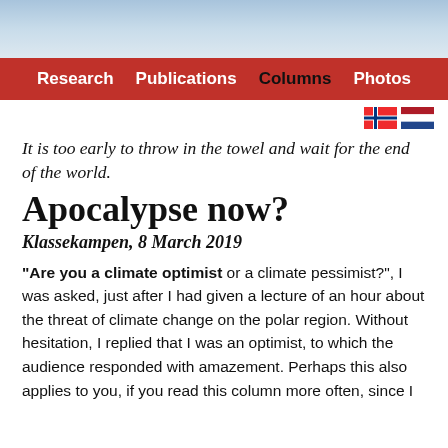[Figure (photo): Website header image with light blue sky/sea background]
Research  Publications  Columns  Photos
[Figure (other): Norwegian and Dutch flag icons]
It is too early to throw in the towel and wait for the end of the world.
Apocalypse now?
Klassekampen, 8 March 2019
"Are you a climate optimist or a climate pessimist?", I was asked, just after I had given a lecture of an hour about the threat of climate change on the polar region. Without hesitation, I replied that I was an optimist, to which the audience responded with amazement. Perhaps this also applies to you, if you read this column more often, since I